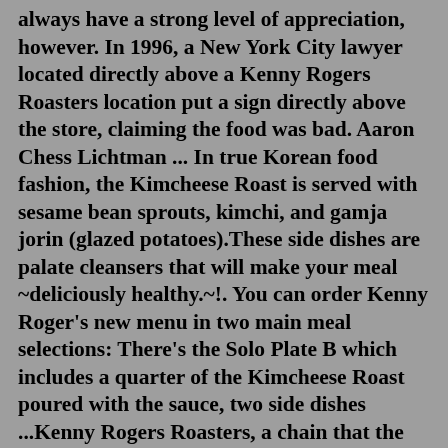always have a strong level of appreciation, however. In 1996, a New York City lawyer located directly above a Kenny Rogers Roasters location put a sign directly above the store, claiming the food was bad. Aaron Chess Lichtman ... In true Korean food fashion, the Kimcheese Roast is served with sesame bean sprouts, kimchi, and gamja jorin (glazed potatoes).These side dishes are palate cleansers that will make your meal ~deliciously healthy.~!. You can order Kenny Roger's new menu in two main meal selections: There's the Solo Plate B which includes a quarter of the Kimcheese Roast poured with the sauce, two side dishes ...Kenny Rogers Roasters, a chain that the singer started with pal and former KFC mogul John Y. Brown in 1991, probably became most renowned as a plot device in a 1996 "Seinfeld" episode, in which the eccentric Kramer hangs a "Bad Chicken" banner outside his apartment to protest the restaurant's sleep-depriving neon sign. By show's end, the ...We use cookies to offer you a better browsing